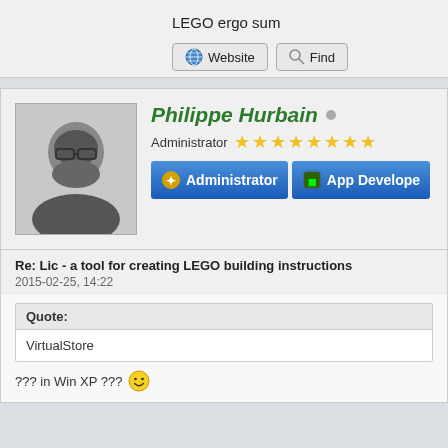LEGO ergo sum
Website   Find
Philippe Hurbain
Administrator ★★★★★★★★
Administrator   App Developer
Re: Lic - a tool for creating LEGO building instructions
2015-02-25, 14:22
Quote:
VirtualStore
??? in Win XP ???